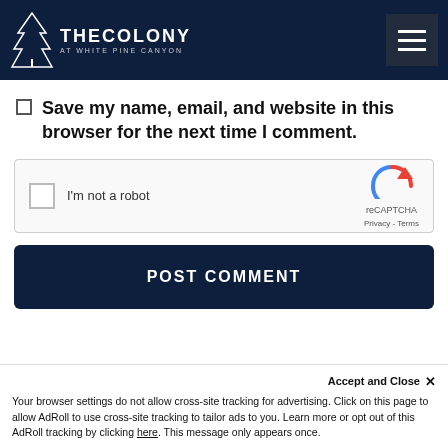[Figure (logo): The Colony at White Pine Canyon logo with pine tree illustration and hamburger menu icon on dark navy header]
Save my name, email, and website in this browser for the next time I comment.
[Figure (other): reCAPTCHA widget: I'm not a robot checkbox with reCAPTCHA logo, Privacy and Terms links]
POST COMMENT
Accept and Close ×
Your browser settings do not allow cross-site tracking for advertising. Click on this page to allow AdRoll to use cross-site tracking to tailor ads to you. Learn more or opt out of this AdRoll tracking by clicking here. This message only appears once.